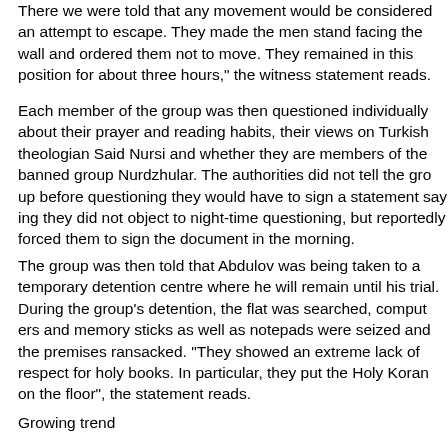There we were told that any movement would be considered an attempt to escape. They made the men stand facing the wall and ordered them not to move. They remained in this position for about three hours," the witness statement reads.
Each member of the group was then questioned individually about their prayer and reading habits, their views on Turkish theologian Said Nursi and whether they are members of the banned group Nurdzhular. The authorities did not tell the group before questioning they would have to sign a statement saying they did not object to night-time questioning, but reportedly forced them to sign the document in the morning.
The group was then told that Abdulov was being taken to a temporary detention centre where he will remain until his trial. During the group's detention, the flat was searched, computers and memory sticks as well as notepads were seized and the premises ransacked. "They showed an extreme lack of respect for holy books. In particular, they put the Holy Koran on the floor", the statement reads.
Growing trend